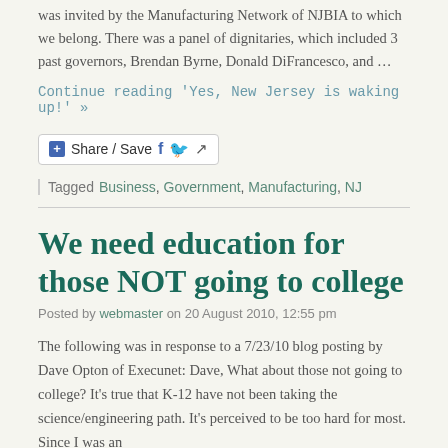was invited by the Manufacturing Network of NJBIA to which we belong. There was a panel of dignitaries, which included 3 past governors, Brendan Byrne, Donald DiFrancesco, and …
Continue reading 'Yes, New Jersey is waking up!' »
[Figure (other): Share / Save button with Facebook, Twitter, and share icons]
| Tagged Business, Government, Manufacturing, NJ
We need education for those NOT going to college
Posted by webmaster on 20 August 2010, 12:55 pm
The following was in response to a 7/23/10 blog posting by Dave Opton of Execunet: Dave, What about those not going to college? It's true that K-12 have not been taking the science/engineering path. It's perceived to be too hard for most. Since I was an